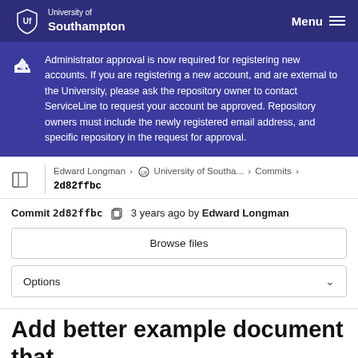University of Southampton | Menu
Administrator approval is now required for registering new accounts. If you are registering a new account, and are external to the University, please ask the repository owner to contact ServiceLine to request your account be approved. Repository owners must include the newly registered email address, and specific repository in the request for approval.
Edward Longman > University of Southa... > Commits > 2d82ffbc
Commit 2d82ffbc  3 years ago by Edward Longman
Browse files
Options
Add better example document that